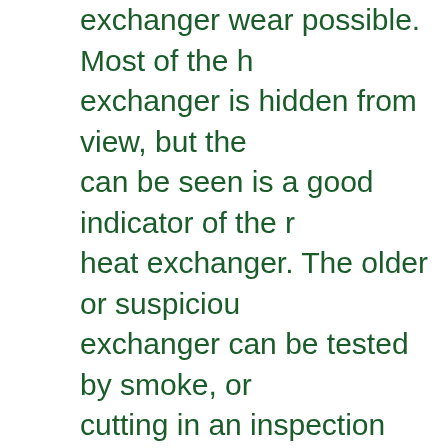exchanger wear possible. Most of the heat exchanger is hidden from view, but the part that can be seen is a good indicator of the rest of the heat exchanger. The older or suspicious heat exchanger can be tested by smoke, or by cutting in an inspection door. If the burner is producing CO then testing the supply air can show the presents of a crack.
Visual Inspection of the Vent Connector
the connector between the furnace and the chimney. Signs of moisture indicate additional problems, On the signal walled pipe, try flexing the vent connector to check for interior rust, weak pipes should be replaced.